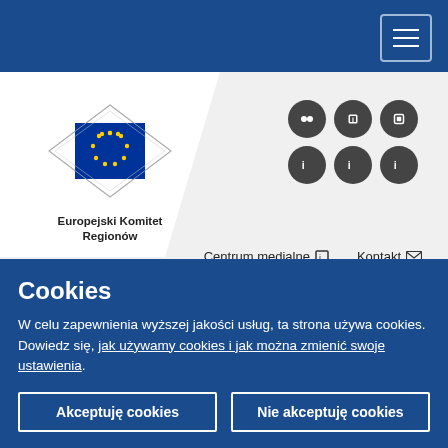[Figure (logo): European Committee of the Regions logo with EU flag and diamond frame]
Europejski Komitet Regionów
Centrum medialne  Kontakt
Jesteś tutaj > 🏠 > Aktualności > Burgenland: the power of autonomous green electricity supply
Cookies
W celu zapewnienia wyższej jakości usług, ta strona używa cookies. Dowiedz się, jak używamy cookies i jak można zmienić swoje ustawienia.
Akceptuję cookies
Nie akceptuję cookies